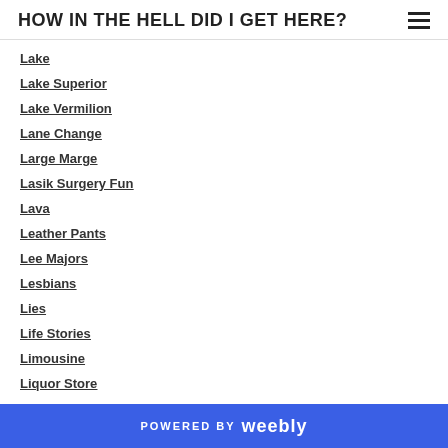HOW IN THE HELL DID I GET HERE?
Lake
Lake Superior
Lake Vermilion
Lane Change
Large Marge
Lasik Surgery Fun
Lava
Leather Pants
Lee Majors
Lesbians
Lies
Life Stories
Limousine
Liquor Store
Living With A Colli…
POWERED BY weebly